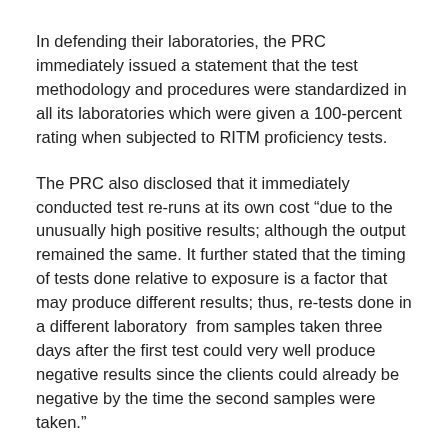In defending their laboratories, the PRC immediately issued a statement that the test methodology and procedures were standardized in all its laboratories which were given a 100-percent rating when subjected to RITM proficiency tests.
The PRC also disclosed that it immediately conducted test re-runs at its own cost “due to the unusually high positive results; although the output remained the same. It further stated that the timing of tests done relative to exposure is a factor that may produce different results; thus, re-tests done in a different laboratory  from samples taken three days after the first test could very well produce negative results since the clients could already be negative by the time the second samples were taken.”
The PRC lamented that it has found itself a victim of